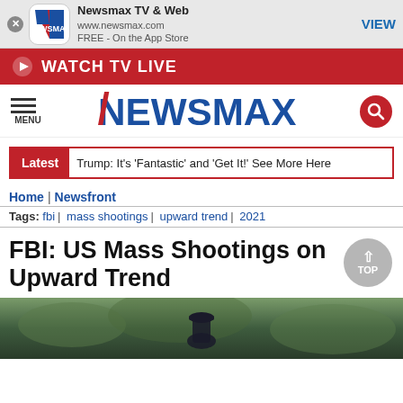[Figure (screenshot): Newsmax app banner with logo, app name, URL, and VIEW button]
WATCH TV LIVE
[Figure (logo): Newsmax logo with menu icon and search icon]
Latest  Trump: It’s ‘Fantastic’ and ‘Get It!’ See More Here
Home | Newsfront
Tags: fbi | mass shootings | upward trend | 2021
FBI: US Mass Shootings on Upward Trend
[Figure (photo): Person seen from behind wearing a dark cap, background is green foliage]